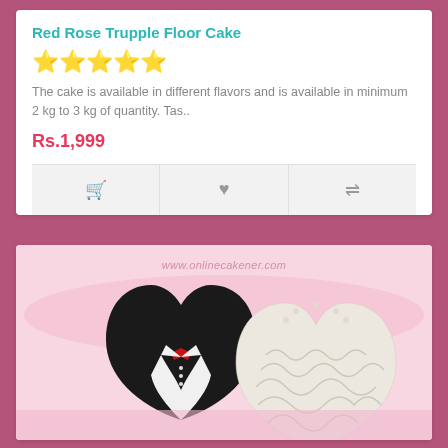Red Rose Trupple Floor Cake
★★★★★
The cake is available in different flavors and is available in minimum 2 kg to 3 kg of quantity. Tas..
Rs.1,999
[Figure (photo): Two heart-shaped wedding cakes on a pink background — one black tuxedo cake with a red bow tie, one white lace-textured bridal cake. Watermark reads www.onlinecakener.com]